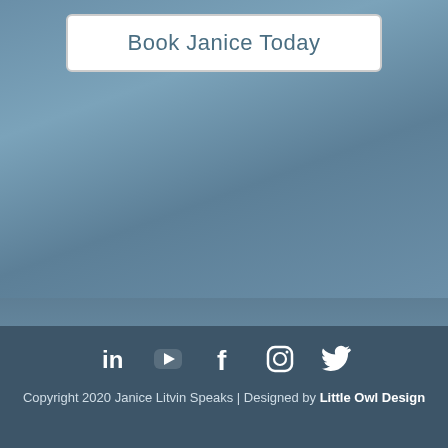Book Janice Today
Terms of Use and Refund Policy
Privacy Policy
[Figure (other): Social media icons: LinkedIn, YouTube, Facebook, Instagram, Twitter]
Copyright 2020 Janice Litvin Speaks | Designed by Little Owl Design